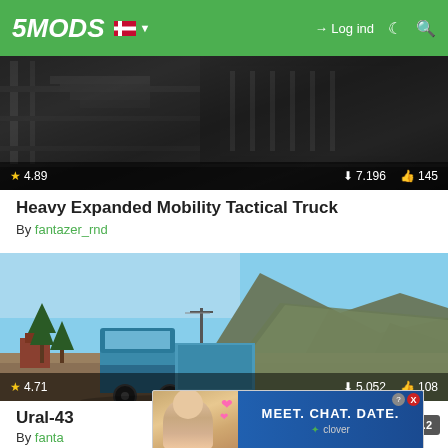5MODS — Log ind
[Figure (screenshot): Dark industrial scene screenshot from a GTA5 mod, showing a rating of 4.89 stars, 7,196 downloads, and 145 likes]
Heavy Expanded Mobility Tactical Truck
By fantazer_rnd
[Figure (screenshot): Outdoor scene screenshot from GTA5 showing a blue Ural-43 truck with a tarp/canopy near mountains and trees, rating 4.71 stars, 5,052 downloads, 108 likes]
Ural-43
By fanta
[Figure (infographic): Advertisement overlay: MEET. CHAT. DATE. by Clover, with a woman photo on the left and blue background on the right. Has close (X) and info (?) buttons.]